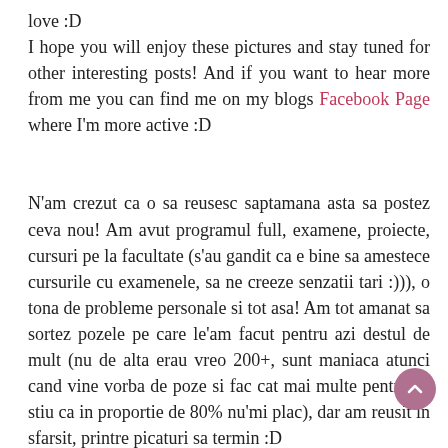love :D
I hope you will enjoy these pictures and stay tuned for other interesting posts! And if you want to hear more from me you can find me on my blogs Facebook Page where I'm more active :D
N'am crezut ca o sa reusesc saptamana asta sa postez ceva nou! Am avut programul full, examene, proiecte, cursuri pe la facultate (s'au gandit ca e bine sa amestece cursurile cu examenele, sa ne creeze senzatii tari :))), o tona de probleme personale si tot asa! Am tot amanat sa sortez pozele pe care le'am facut pentru azi destul de mult (nu de alta erau vreo 200+, sunt maniaca atunci cand vine vorba de poze si fac cat mai multe pentru ca stiu ca in proportie de 80% nu'mi plac), dar am reusit in sfarsit, printre picaturi sa termin :D
Nu'i asa ca va place bluza mea? Am tot alergat dupa un top